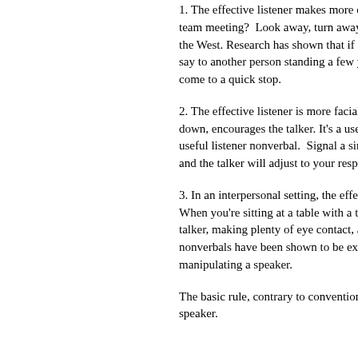1. The effective listener makes more eye contact. Want to kill a talker in a team meeting? Look away, turn away from him. That'll put an end to it--in the West. Research has shown that if an audience turns from the speaker--say to another person standing a few yards from the speaker, the talking will come to a quick stop.
2. The effective listener is more facially expressive, nods her head up and down, encourages the talker. It's a useful speaker nonverbal. It's also a useful listener nonverbal. Signal a simple "no" by turning the head right, and the talker will adjust to your response.
3. In an interpersonal setting, the effective listener leans toward the talker. When you're sitting at a table with a talker, try leaning forward toward the talker, making plenty of eye contact, along with a slight nod. These nonverbals have been shown to be extremely powerful in encouraging--even manipulating a speaker.
The basic rule, contrary to conventional wisdom, is that listener controls the speaker.